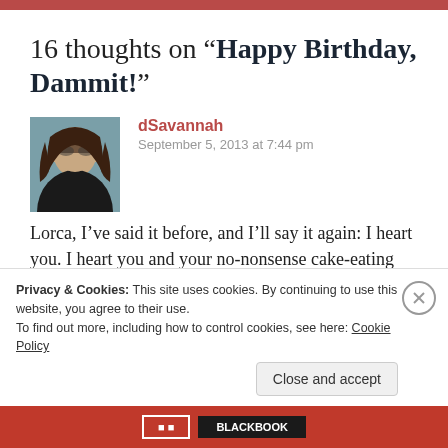16 thoughts on “Happy Birthday, Dammit!”
[Figure (photo): Profile photo of commenter dSavannah: a woman with glasses and dark hair]
dSavannah
September 5, 2013 at 7:44 pm
Lorca, I’ve said it before, and I’ll say it again: I heart you. I heart you and your no-nonsense cake-eating self-loving self. (If I had cake right now, I’d totally
Privacy & Cookies: This site uses cookies. By continuing to use this website, you agree to their use.
To find out more, including how to control cookies, see here: Cookie Policy
Close and accept